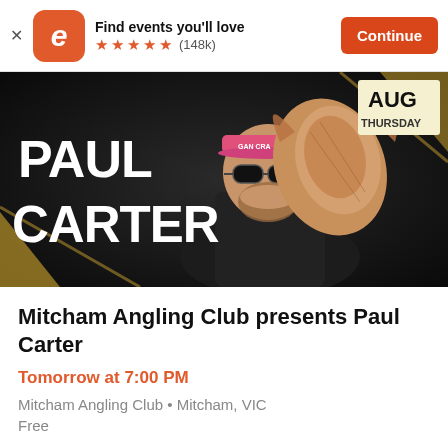[Figure (screenshot): Eventbrite app banner: orange rounded-square logo with italic 'e', text 'Find events you'll love', five orange stars rating, '(148k)' reviews, and orange 'Continue' button on right]
[Figure (photo): Dark event promotional banner for Paul Carter. Man wearing pink visor/cap with sunglasses holding a large squid/cuttlefish. Large white bold text 'PAUL CARTER' on left. Top-right corner shows 'AUG' and 'THURSDAY' on gold/yellow label.]
Mitcham Angling Club presents Paul Carter
Tomorrow at 7:00 PM
Mitcham Angling Club • Mitcham, VIC
Free